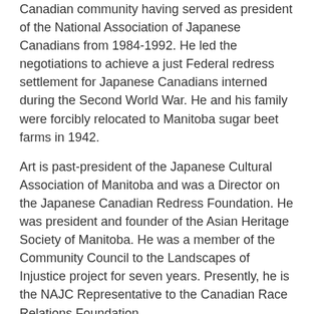Canadian community having served as president of the National Association of Japanese Canadians from 1984-1992. He led the negotiations to achieve a just Federal redress settlement for Japanese Canadians interned during the Second World War. He and his family were forcibly relocated to Manitoba sugar beet farms in 1942.
Art is past-president of the Japanese Cultural Association of Manitoba and was a Director on the Japanese Canadian Redress Foundation. He was president and founder of the Asian Heritage Society of Manitoba. He was a member of the Community Council to the Landscapes of Injustice project for seven years. Presently, he is the NAJC Representative to the Canadian Race Relations Foundation.
Art is a former teacher and principal, a Canadian Citizenship Judge and a lecturer at the University of